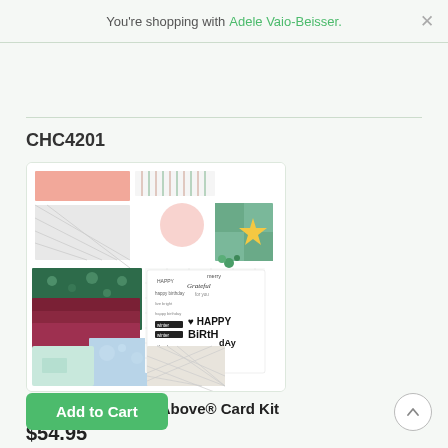You're shopping with Adele Vaio-Beisser.
CHC4201
[Figure (photo): Product photo of Sep-Dec 2019 Cut Above Card Kit showing various scrapbooking papers, cards, and stamp sheets with holiday and birthday themes in green, maroon, pink and blue colors.]
Sep–Dec 2019 Cut Above® Card Kit
$54.95
Add to Cart